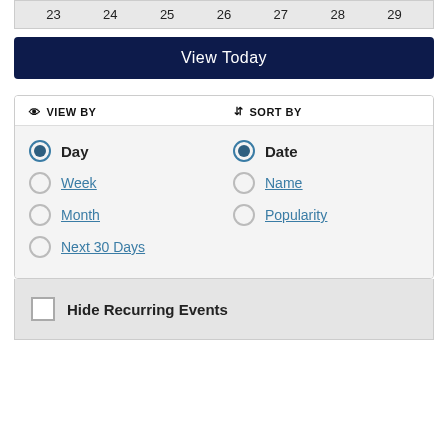23  24  25  26  27  28  29
View Today
VIEW BY
SORT BY
Day (selected)
Week
Month
Next 30 Days
Date (selected)
Name
Popularity
Hide Recurring Events